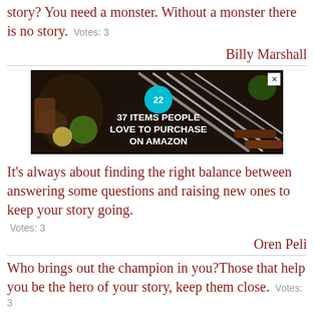story? You need a monster. Without a monster there is no story.  Votes: 3
Billy Marshall
[Figure (photo): Advertisement banner: dark background with knives and food items. Text reads '22' in a teal circle badge, and '37 ITEMS PEOPLE LOVE TO PURCHASE ON AMAZON' in bold white text. Close button (X) in top right.]
It's always about finding the right balance between answering some questions and raising new ones to keep your story going.
Votes: 3
Oren Peli
Who brings out the champion in you?Those that help you be the hero of your story, keep them close.  Votes: 3